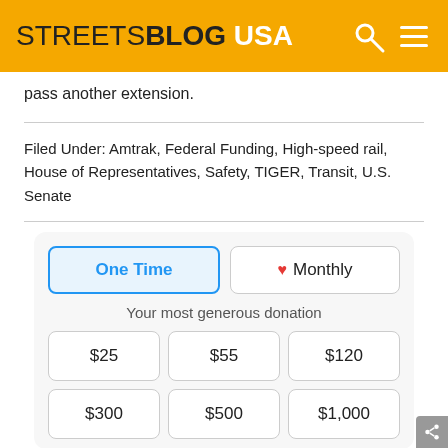STREETSBLOG USA
pass another extension.
Filed Under: Amtrak, Federal Funding, High-speed rail, House of Representatives, Safety, TIGER, Transit, U.S. Senate
[Figure (other): Donation widget with One Time / Monthly toggle and amount buttons ($25, $55, $120, $300, $500, $1,000)]